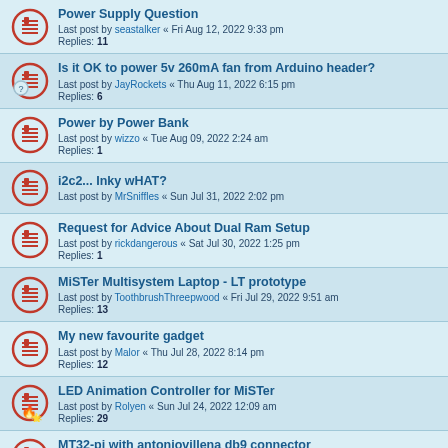Power Supply Question | Last post by seastalker « Fri Aug 12, 2022 9:33 pm | Replies: 11
Is it OK to power 5v 260mA fan from Arduino header? | Last post by JayRockets « Thu Aug 11, 2022 6:15 pm | Replies: 6
Power by Power Bank | Last post by wizzo « Tue Aug 09, 2022 2:24 am | Replies: 1
i2c2... Inky wHAT? | Last post by MrSniffles « Sun Jul 31, 2022 2:02 pm
Request for Advice About Dual Ram Setup | Last post by rickdangerous « Sat Jul 30, 2022 1:25 pm | Replies: 1
MiSTer Multisystem Laptop - LT prototype | Last post by ToothbrushThreepwood « Fri Jul 29, 2022 9:51 am | Replies: 13
My new favourite gadget | Last post by Malor « Thu Jul 28, 2022 8:14 pm | Replies: 12
LED Animation Controller for MiSTer | Last post by Rolyen « Sun Jul 24, 2022 12:09 am | Replies: 29
MT32-pi with antoniovillena db9 connector | Last post by douglie007 « Thu Jul 21, 2022 11:58 pm | Replies: 3
MiSTer Multisystem Handheld Prototype 'Handy'